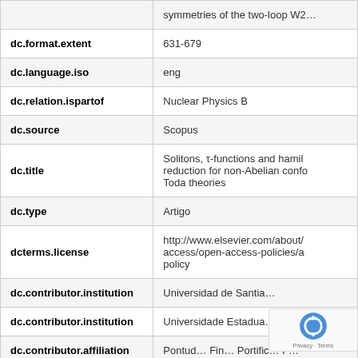| Field | Value |
| --- | --- |
| (partial top row) | symmetries of the two-loop W2… |
| dc.format.extent | 631-679 |
| dc.language.iso | eng |
| dc.relation.ispartof | Nuclear Physics B |
| dc.source | Scopus |
| dc.title | Solitons, τ-functions and hamiltonian reduction for non-Abelian conformal Toda theories |
| dc.type | Artigo |
| dcterms.license | http://www.elsevier.com/about/access/open-access-policies/a policy |
| dc.contributor.institution | Universidad de Santia… |
| dc.contributor.institution | Universidade Estadua… |
| dc.contributor.affiliation | Pontud… Fin… Portific… F… |